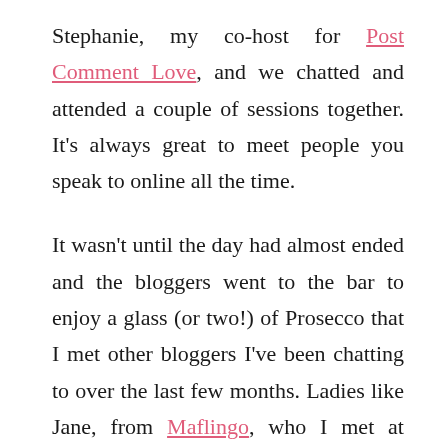Stephanie, my co-host for Post Comment Love, and we chatted and attended a couple of sessions together. It's always great to meet people you speak to online all the time.
It wasn't until the day had almost ended and the bloggers went to the bar to enjoy a glass (or two!) of Prosecco that I met other bloggers I've been chatting to over the last few months. Ladies like Jane, from Maflingo, who I met at BritMums Live in June, we chatted for a little while about our love of Lego. Nicky, from Not Just The 3 Of Us, had nodded to me during the day and we managed to meet up later on.